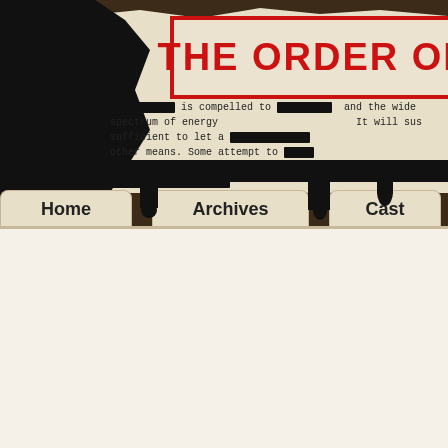[Figure (screenshot): Website header for 'The Order of...' webcomic. Dark brown background with torn paper effect, black ink blot on left, red stamped title text 'THE ORDER OF', redacted document text with black bars, navigation tabs (Home, Archives, Cast), and main content area showing 'LIVING WIT...' banner and '//fi...' text with a comic panel strip at bottom.]
THE ORDER OF
is compelled to and the wide spectrum of energy It will sus sufficient to let a other means. Some attempt to the
Home   Archives   Cast
LIVING wit
//fi